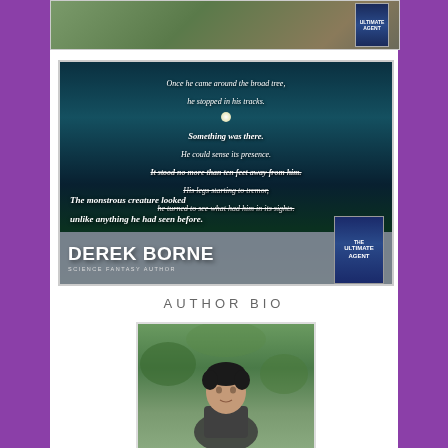[Figure (illustration): Top banner image showing outdoor scene with book cover for 'The Ultimate Agent' by Derek Borne]
[Figure (illustration): Dark atmospheric forest/moonlight scene with italic text excerpt reading: 'Once he came around the broad tree, he stopped in his tracks. Something was there. He could sense its presence. It stood no more than ten feet away from him. His legs starting to tremor, he turned to see what had him in its sights. The monstrous creature looked unlike anything he had seen before.' Author name DEREK BORNE and book cover 'The Ultimate Agent' shown at bottom.]
AUTHOR BIO
[Figure (photo): Photo of the author, a man with dark hair wearing a dark shirt, standing outdoors among green foliage]